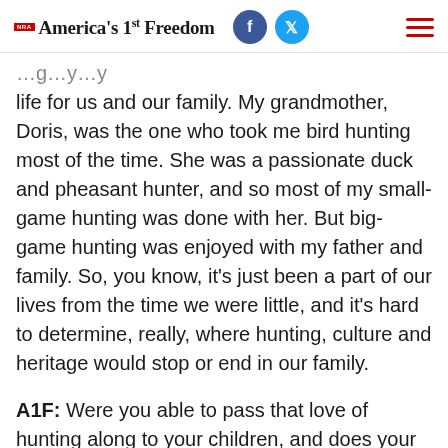NRA America's 1st Freedom
life for us and our family. My grandmother, Doris, was the one who took me bird hunting most of the time. She was a passionate duck and pheasant hunter, and so most of my small-game hunting was done with her. But big-game hunting was enjoyed with my father and family. So, you know, it's just been a part of our lives from the time we were little, and it's hard to determine, really, where hunting, culture and heritage would stop or end in our family.
A1F: Were you able to pass that love of hunting along to your children, and does your husband feel that way, too? Is he a hunter and an outdoorsman? Gov. Noem: My girls are very active hunters. Kassidy